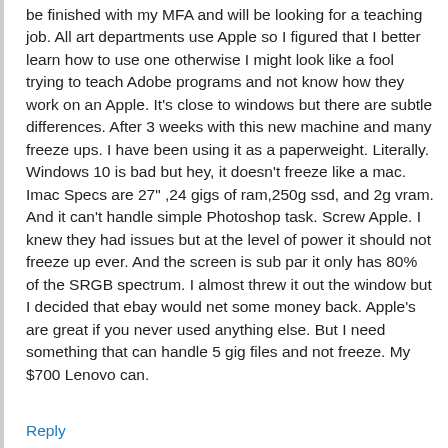be finished with my MFA and will be looking for a teaching job. All art departments use Apple so I figured that I better learn how to use one otherwise I might look like a fool trying to teach Adobe programs and not know how they work on an Apple. It's close to windows but there are subtle differences. After 3 weeks with this new machine and many freeze ups. I have been using it as a paperweight. Literally. Windows 10 is bad but hey, it doesn't freeze like a mac. Imac Specs are 27" ,24 gigs of ram,250g ssd, and 2g vram. And it can't handle simple Photoshop task. Screw Apple. I knew they had issues but at the level of power it should not freeze up ever. And the screen is sub par it only has 80% of the SRGB spectrum. I almost threw it out the window but I decided that ebay would net some money back. Apple's are great if you never used anything else. But I need something that can handle 5 gig files and not freeze. My $700 Lenovo can.
Reply